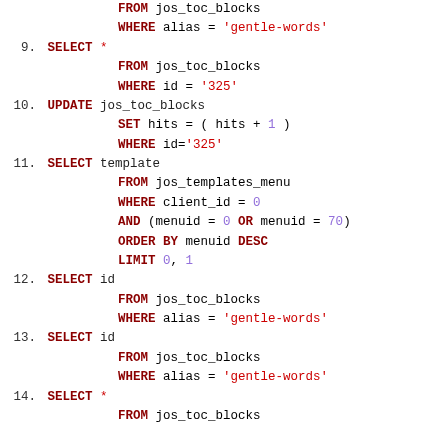SQL code listing showing queries 9-14 with SELECT, UPDATE statements on jos_toc_blocks and jos_templates_menu tables
FROM jos_toc_blocks WHERE alias = 'gentle-words'
9. SELECT * FROM jos_toc_blocks WHERE id = '325'
10. UPDATE jos_toc_blocks SET hits = ( hits + 1 ) WHERE id='325'
11. SELECT template FROM jos_templates_menu WHERE client_id = 0 AND (menuid = 0 OR menuid = 70) ORDER BY menuid DESC LIMIT 0, 1
12. SELECT id FROM jos_toc_blocks WHERE alias = 'gentle-words'
13. SELECT id FROM jos_toc_blocks WHERE alias = 'gentle-words'
14. SELECT * FROM jos_toc_blocks